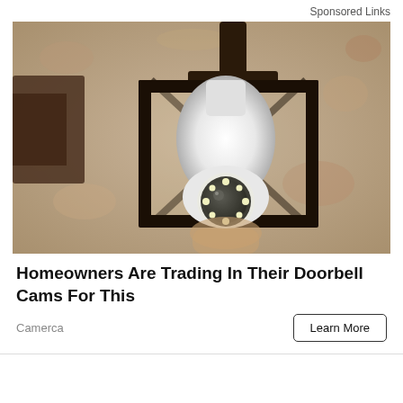Sponsored Links
[Figure (photo): A security camera bulb installed inside a black outdoor lantern fixture mounted on a textured stucco wall. The device looks like a light bulb but has a visible camera lens with LED lights at the bottom.]
Homeowners Are Trading In Their Doorbell Cams For This
Camerca
Learn More